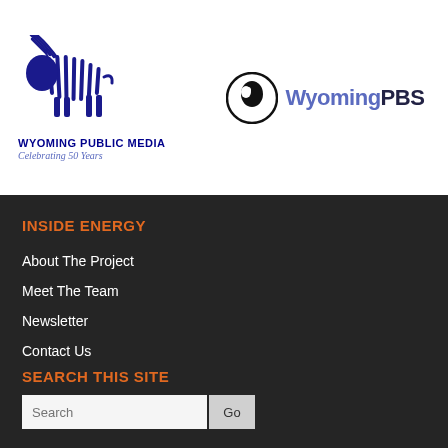[Figure (logo): Wyoming Public Media bison logo with radio waves, blue illustration, with text 'WYOMING PUBLIC MEDIA' and 'Celebrating 50 Years' below]
[Figure (logo): WyomingPBS logo with PBS circular head icon and 'WyomingPBS' wordmark]
INSIDE ENERGY
About The Project
Meet The Team
Newsletter
Contact Us
Terms Of Use
SEARCH THIS SITE